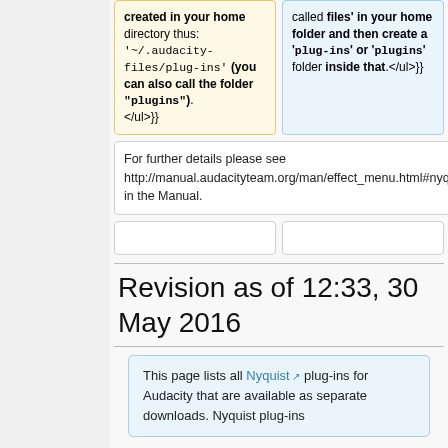created in your home directory thus: '~/.audacity-files/plug-ins' (you can also call the folder "plugins"). </ul>}}
called files' in your home folder and then create a 'plug-ins' or 'plugins' folder inside that.</ul>}}
For further details please see http://manual.audacityteam.org/man/effect_menu.html#nyquist_effects in the Manual.
For further details please see http://manual.audacityteam.org/man/effect_menu.html#nyquist_effects in the Manual.
Revision as of 12:33, 30 May 2016
This page lists all Nyquist plug-ins for Audacity that are available as separate downloads. Nyquist plug-ins